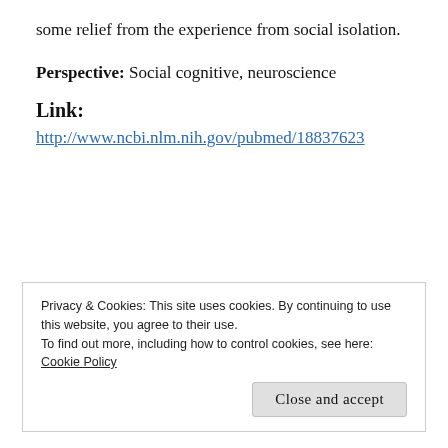some relief from the experience from social isolation.
Perspective: Social cognitive, neuroscience
Link:
http://www.ncbi.nlm.nih.gov/pubmed/18837623
Privacy & Cookies: This site uses cookies. By continuing to use this website, you agree to their use.
To find out more, including how to control cookies, see here:
Cookie Policy
Close and accept